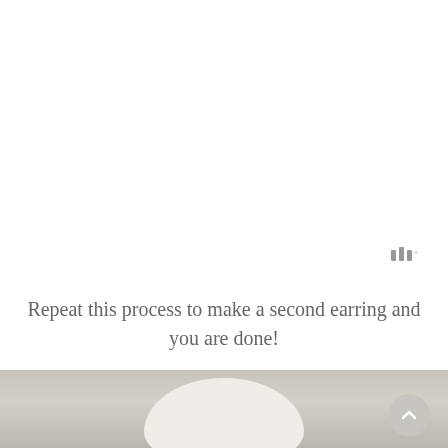[Figure (logo): Three vertical bars logo with a degree symbol, resembling a crafting/tutorial website watermark in gray]
Repeat this process to make a second earring and you are done!
[Figure (photo): Close-up photo of a white rounded clay or resin earring shape against a warm gray background, with a circular back-to-top arrow button visible in the bottom right corner]